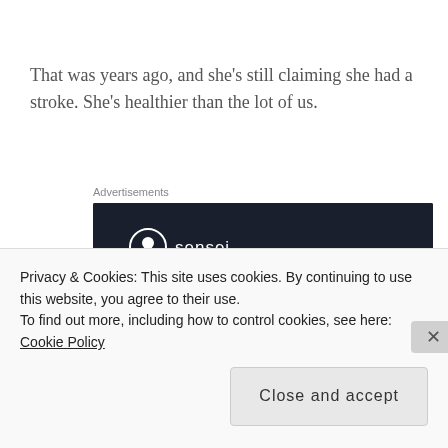That was years ago, and she's still claiming she had a stroke. She's healthier than the lot of us.
Advertisements
[Figure (screenshot): Sensei advertisement banner with dark navy background showing sensei logo and text 'Launch your online course with WordPress' in teal/green color]
Privacy & Cookies: This site uses cookies. By continuing to use this website, you agree to their use.
To find out more, including how to control cookies, see here: Cookie Policy
Close and accept